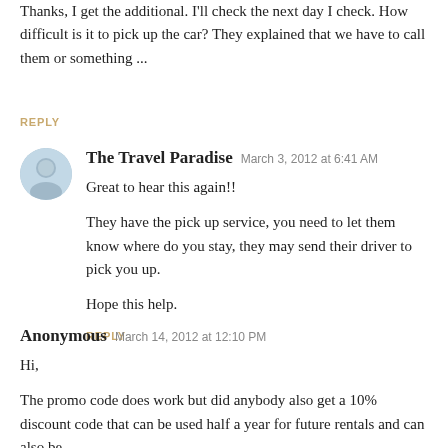Thanks, I get the additional. I'll check the next day I check. How difficult is it to pick up the car? They explained that we have to call them or something ...
REPLY
The Travel Paradise  March 3, 2012 at 6:41 AM
Great to hear this again!!
They have the pick up service, you need to let them know where do you stay, they may send their driver to pick you up.
Hope this help.
REPLY
Anonymous  March 14, 2012 at 12:10 PM
Hi,
The promo code does work but did anybody also get a 10% discount code that can be used half a year for future rentals and can also be